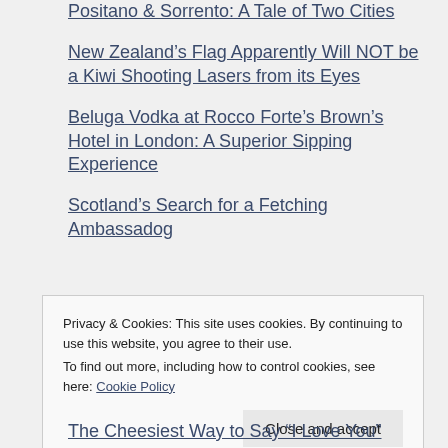Positano & Sorrento: A Tale of Two Cities
New Zealand's Flag Apparently Will NOT be a Kiwi Shooting Lasers from its Eyes
Beluga Vodka at Rocco Forte's Brown's Hotel in London: A Superior Sipping Experience
Scotland's Search for a Fetching Ambassadog
Privacy & Cookies: This site uses cookies. By continuing to use this website, you agree to their use. To find out more, including how to control cookies, see here: Cookie Policy
Close and accept
The Cheesiest Way to Say “I Love You”